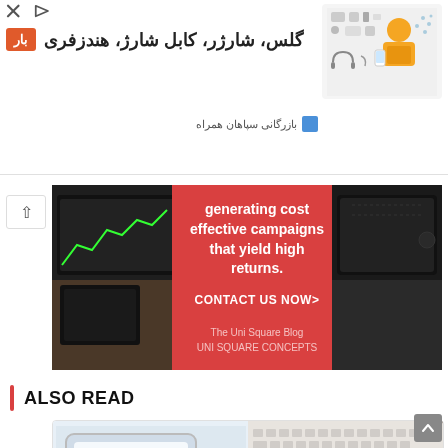[Figure (screenshot): Persian language advertisement banner with orange badge label, Persian text for glasses, chargers, cables, and accessories, and a cartoon person with electronics on the right side]
[Figure (screenshot): Red promotional banner with text: generating cost effective campaigns that yield high returns. CONTACT US NOW> The Uni Square Blog UNI SQUARE CONCEPTS, flanked by dark photos of electronics/tablet on left and right]
ALSO READ
[Figure (photo): Split image: left side shows a tablet displaying a blue stacked bar chart growing upward, right side shows a keyboard and clipboard with pen on a dark wooden desk]